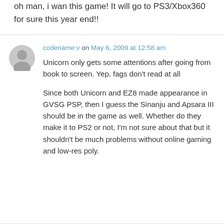oh man, i wan this game! It will go to PS3/Xbox360 for sure this year end!!
codename:v on May 6, 2009 at 12:58 am
Unicorn only gets some attentions after going from book to screen. Yep, fags don't read at all
Since both Unicorn and EZ8 made appearance in GVSG PSP, then I guess the Sinanju and Apsara III should be in the game as well. Whether do they make it to PS2 or not, I'm not sure about that but it shouldn't be much problems without online gaming and low-res poly.